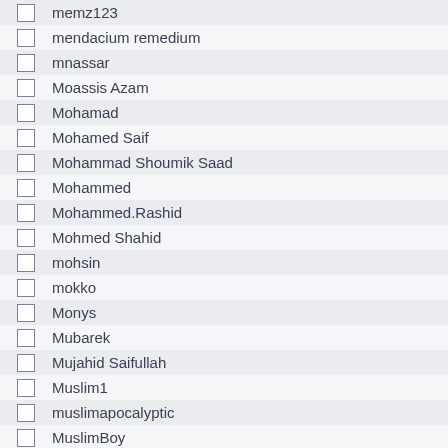|  | Username | Role |
| --- | --- | --- |
|  | memz123 | Newb... |
|  | mendacium remedium | Sr. Me... |
|  | mnassar | Newbi... |
|  | Moassis Azam | Full Me... |
|  | Mohamad | Full Me... |
|  | Mohamed Saif | Hero M... |
|  | Mohammad Shoumik Saad | Full Me... |
|  | Mohammed | Full Me... |
|  | Mohammed.Rashid | Hero M... |
|  | Mohmed Shahid | Full Me... |
|  | mohsin | Full Me... |
|  | mokko | Jr. Me... |
|  | Monys | Sr. Me... |
|  | Mubarek | Newbi... |
|  | Mujahid Saifullah | Hero M... |
|  | Muslim1 | Full Me... |
|  | muslimapocalyptic | Full Me... |
|  | MuslimBoy | Hero M... |
|  | muslimforever2012 | Hero M... |
|  | Muslimincanada | Full Me... |